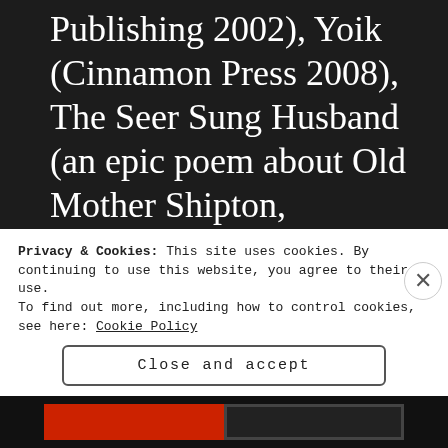Publishing 2002), Yoik (Cinnamon Press 2008), The Seer Sung Husband (an epic poem about Old Mother Shipton, Smokestack 2010) and SAMPO: Heading Further North (co-written with Andy Willoughby, Red Squirrel Press 2015). His poetry has been translated into Urdu, Dutch, Estonian, Finnish, Russian, Danish, Spanish, and Swedish. He is a founding
Privacy & Cookies: This site uses cookies. By continuing to use this website, you agree to their use.
To find out more, including how to control cookies, see here: Cookie Policy
Close and accept